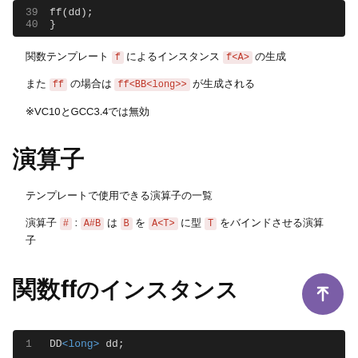[Figure (screenshot): Dark code block showing lines 39-40: ff(dd); and closing brace }]
関数テンプレート f によるインスタンス f<A> の生成
また ff の場合は ff<BB<long>> が生成される
※VC10とGCC3.4では無効
演算子
テンプレートで使用できる演算子の一覧
演算子 # : A#B は B を A<T> に型 T をバインドさせる演算子
関数ffのインスタンス
[Figure (screenshot): Dark code block showing line 1: DD<long> dd;]